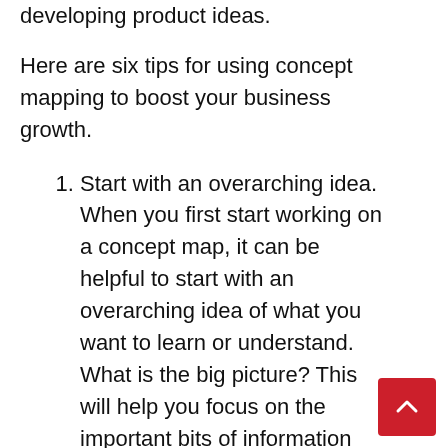developing product ideas.
Here are six tips for using concept mapping to boost your business growth.
Start with an overarching idea. When you first start working on a concept map, it can be helpful to start with an overarching idea of what you want to learn or understand. What is the big picture? This will help you focus on the important bits of information while excluding details that are less important.
Use nodes and links. Node icons represent key facts or concepts, while the lines connecting them represent relationships between them. As you work